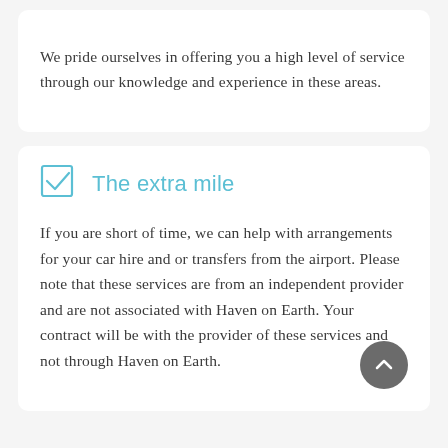We pride ourselves in offering you a high level of service through our knowledge and experience in these areas.
The extra mile
If you are short of time, we can help with arrangements for your car hire and or transfers from the airport. Please note that these services are from an independent provider and are not associated with Haven on Earth. Your contract will be with the provider of these services and not through Haven on Earth.